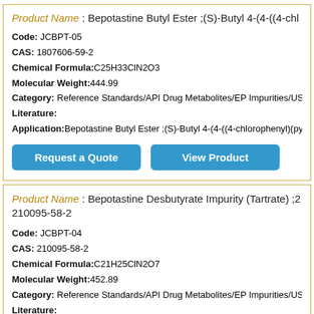Product Name : Bepotastine Butyl Ester ;(S)-Butyl 4-(4-((4-chl...
Code: JCBPT-05
CAS: 1807606-59-2
Chemical Formula:C25H33ClN2O3
Molecular Weight:444.99
Category: Reference Standards/API Drug Metabolites/EP Impurities/USP Im...
Literature:
Application:Bepotastine Butyl Ester ;(S)-Butyl 4-(4-((4-chlorophenyl)(pyridin-...
Request a Quote | View Product
Product Name : Bepotastine Desbutyrate Impurity (Tartrate) ;2-... 210095-58-2
Code: JCBPT-04
CAS: 210095-58-2
Chemical Formula:C21H25ClN2O7
Molecular Weight:452.89
Category: Reference Standards/API Drug Metabolites/EP Impurities/USP Im...
Literature:
Application:Bepotastine Desbutyrate Impurity (Tartrate) ;2-[(S)-(4-Chlorophe...